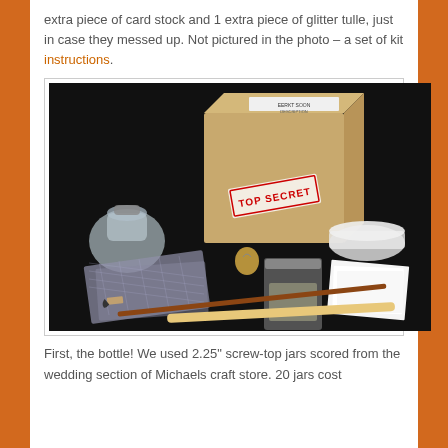extra piece of card stock and 1 extra piece of glitter tulle, just in case they messed up. Not pictured in the photo – a set of kit instructions.
[Figure (photo): A 'Top Secret' cardboard box surrounded by craft kit supplies on a black background: a glass jar, a small round container, glitter tulle fabric, a small bag, a paint brush, a wooden stick, white card stock pieces, and a small gold charm.]
First, the bottle! We used 2.25" screw-top jars scored from the wedding section of Michaels craft store. 20 jars cost